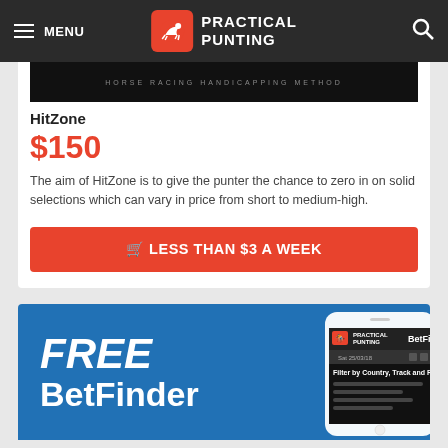MENU | PRACTICAL PUNTING
[Figure (screenshot): Horse Racing Handicapping Method banner image (dark background)]
HitZone
$150
The aim of HitZone is to give the punter the chance to zero in on solid selections which can vary in price from short to medium-high.
🛒 LESS THAN $3 A WEEK
[Figure (infographic): FREE BetFinder banner with blue background and phone screenshot showing Practical Punting BetFinder app]
Punting Library   Form Guide   Tips   Blackbook